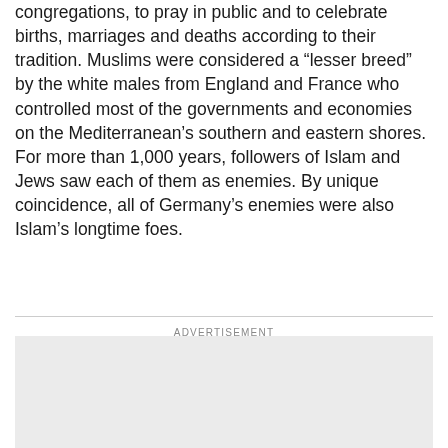congregations, to pray in public and to celebrate births, marriages and deaths according to their tradition. Muslims were considered a “lesser breed” by the white males from England and France who controlled most of the governments and economies on the Mediterranean’s southern and eastern shores. For more than 1,000 years, followers of Islam and Jews saw each of them as enemies. By unique coincidence, all of Germany’s enemies were also Islam’s longtime foes.
ADVERTISEMENT
[Figure (other): Advertisement placeholder box, light gray background]